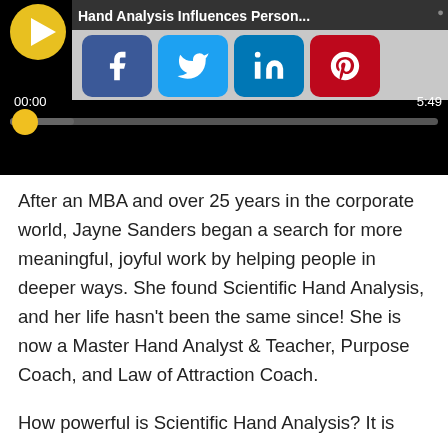[Figure (screenshot): Video player screenshot showing 'Hand Analysis Influences Person...' title with social share buttons (Facebook, Twitter, LinkedIn, Pinterest), timestamp 00:00 / 5:49, and a progress bar with yellow handle at the start.]
After an MBA and over 25 years in the corporate world, Jayne Sanders began a search for more meaningful, joyful work by helping people in deeper ways. She found Scientific Hand Analysis, and her life hasn't been the same since! She is now a Master Hand Analyst & Teacher, Purpose Coach, and Law of Attraction Coach.
How powerful is Scientific Hand Analysis? It is